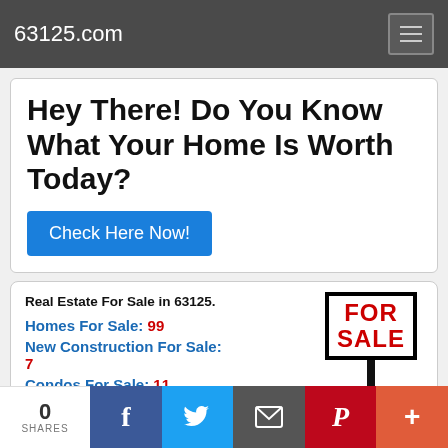63125.com
Hey There! Do You Know What Your Home Is Worth Today?
Check Here Now!
Real Estate For Sale in 63125.
Homes For Sale: 99
New Construction For Sale: 7
Condos For Sale: 11
Commercial For Sale: 4
Multi-Family 5+ For Sale: 1
Multi-Family 2-4 For Sale: 1
[Figure (illustration): FOR SALE yard sign illustration with red bold text on white bordered board and black post]
0 SHARES | Facebook | Twitter | Email | Pinterest | More